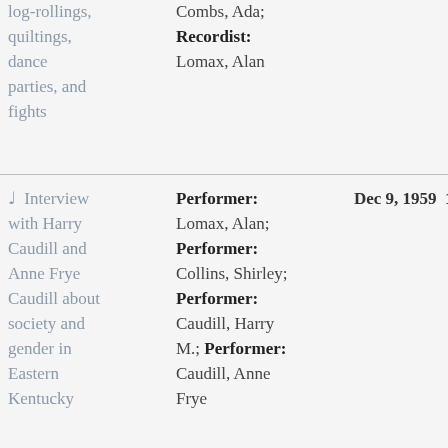log-rollings, quiltings, dance parties, and fights
Recordist: Lomax, Alan
♩ Interview with Harry Caudill and Anne Frye Caudill about society and gender in Eastern Kentucky
Performer: Lomax, Alan; Performer: Collins, Shirley; Performer: Caudill, Harry M.; Performer: Caudill, Anne Frye
Dec 9, 1959  16